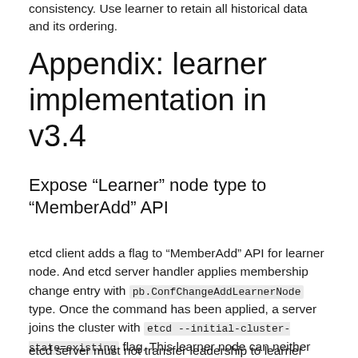consistency. Use learner to retain all historical data and its ordering.
Appendix: learner implementation in v3.4
Expose “Learner” node type to “MemberAdd” API
etcd client adds a flag to “MemberAdd” API for learner node. And etcd server handler applies membership change entry with pb.ConfChangeAddLearnerNode type. Once the command has been applied, a server joins the cluster with etcd --initial-cluster-state=existing flag. This learner node can neither vote nor count as quorum.
etcd server must not transfer leadership to learner